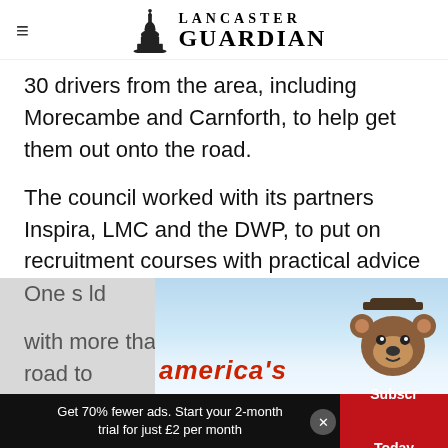Lancaster Guardian
30 drivers from the area, including Morecambe and Carnforth, to help get them out onto the road.
The council worked with its partners Inspira, LMC and the DWP, to put on recruitment courses with practical advice and support to get drivers into taxi jobs.
One s[...] ld with more than 30 drivers now on the road to
[Figure (advertisement): Smokey Bear advertisement banner partially obscuring article text]
Get 70% fewer ads. Start your 2-month trial for just £2 per month